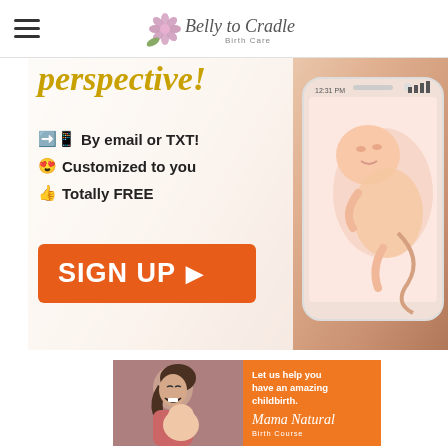Belly to Cradle Birth Care
[Figure (infographic): Promotional banner with pregnancy/baby app advertisement. Shows text 'perspective!' at top (partially visible), bullet list: emoji + 'By email or TXT!', emoji + 'Customized to you', emoji + 'Totally FREE', and an orange 'SIGN UP ▶' button. Background shows a smartphone with an illustration of a fetus inside.]
[Figure (infographic): Mama Natural Birth Course advertisement. Shows a woman holding a newborn baby laughing, with an orange circle overlay reading 'Let us help you have an amazing childbirth.' and the Mama Natural Birth Course logo/script text.]